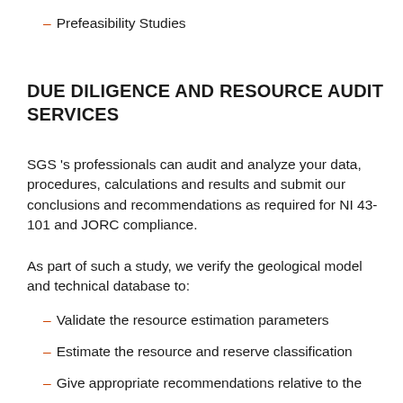Prefeasibility Studies
DUE DILIGENCE AND RESOURCE AUDIT SERVICES
SGS 's professionals can audit and analyze your data, procedures, calculations and results and submit our conclusions and recommendations as required for NI 43-101 and JORC compliance.
As part of such a study, we verify the geological model and technical database to:
Validate the resource estimation parameters
Estimate the resource and reserve classification
Give appropriate recommendations relative to the